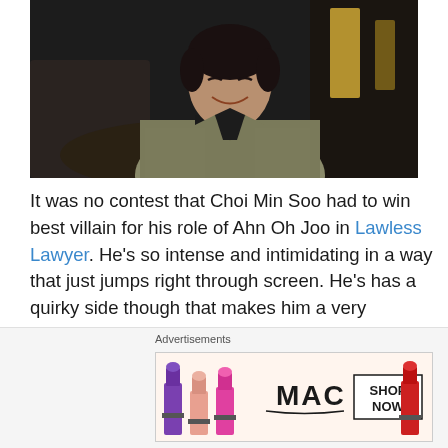[Figure (photo): A man in a light-colored blazer over a dark shirt, smiling, seated in a dark interior setting. This appears to be a still from the Korean drama Lawless Lawyer, depicting actor Choi Min Soo as villain Ahn Oh Joo.]
It was no contest that Choi Min Soo had to win best villain for his role of Ahn Oh Joo in Lawless Lawyer. He's so intense and intimidating in a way that just jumps right through screen. He's has a quirky side though that makes him a very interesting character. He really is the best kind of villain!
[Figure (screenshot): Advertisement banner for MAC cosmetics showing colorful lipsticks and the text SHOP NOW.]